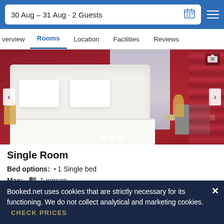30 Aug – 31 Aug · 2 Guests
Overview
Rooms
Location
Facilities
Reviews
[Figure (photo): Hotel single room interior with white bed, dark red walls and plaid curtains, desk and chair on the right side]
Single Room
Bed options: • 1 Single bed
Max: 1 person
Heating  Bathtub
ROOM DETAILS
Booked.net uses cookies that are strictly necessary for its functioning. We do not collect analytical and marketing cookies.
CHECK PRICES